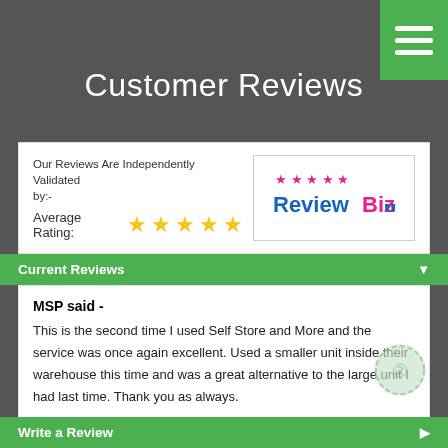Customer Reviews
Our Reviews Are Independently Validated by:-
Average Rating: ★★★★★
[Figure (logo): ReviewBiz logo with stars and quotation mark icon]
Current Reviews
MSP said -
This is the second time I used Self Store and More and the service was once again excellent. Used a smaller unit inside their warehouse this time and was a great alternative to the large unit I had last time. Thank you as always.
★★★★★   11/05/22
'Self Store & More' replied -
Dear Mr Peters. Thank you for your lovely review and for your
Write a Review